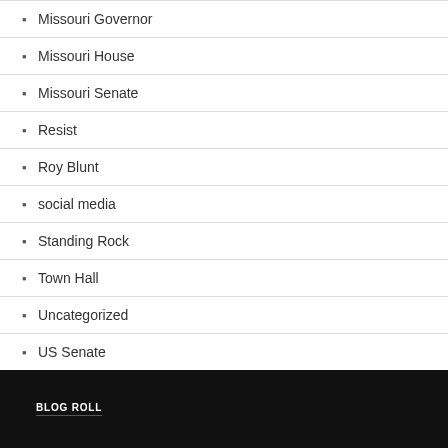Missouri Governor
Missouri House
Missouri Senate
Resist
Roy Blunt
social media
Standing Rock
Town Hall
Uncategorized
US Senate
META
Log in
BLOG ROLL